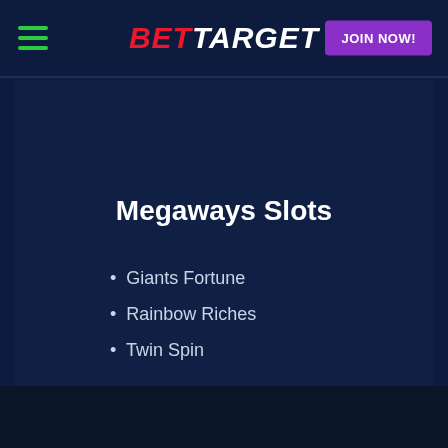BET TARGET — JOIN NOW!
Megaways Slots
Giants Fortune
Rainbow Riches
Twin Spin